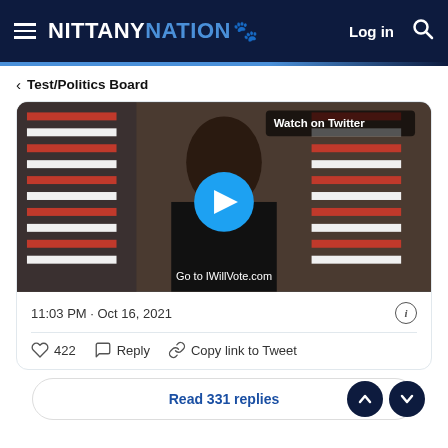NITTANY NATION — Log in
< Test/Politics Board
[Figure (screenshot): Video thumbnail showing a person in front of American flags with a blue play button overlay and text 'Watch on Twitter'. Bottom caption reads 'Go to IWillVote.com']
11:03 PM · Oct 16, 2021
422  Reply  Copy link to Tweet
Read 331 replies